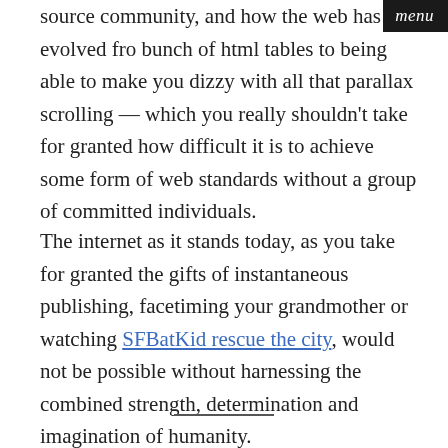menu
source community, and how the web has evolved from a bunch of html tables to being able to make you dizzy with all that parallax scrolling — which you really shouldn't take for granted how difficult it is to achieve some form of web standards without a group of committed individuals.
The internet as it stands today, as you take for granted the gifts of instantaneous publishing, facetiming your grandmother or watching SFBatKid rescue the city, would not be possible without harnessing the combined strength, determination and imagination of humanity.